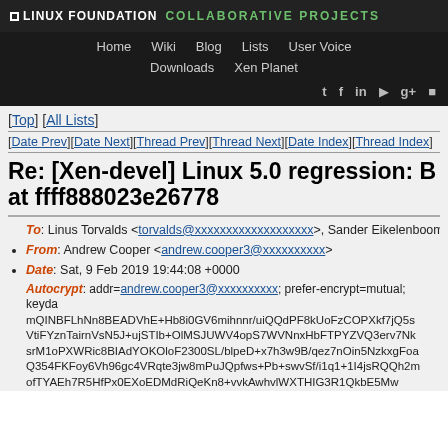LINUX FOUNDATION COLLABORATIVE PROJECTS — Navigation: Home, Wiki, Blog, Lists, User Voice, Downloads, Xen Planet
[Top] [All Lists]
[Date Prev][Date Next][Thread Prev][Thread Next][Date Index][Thread Index]
Re: [Xen-devel] Linux 5.0 regression: B at ffff888023e26778
To: Linus Torvalds <torvalds@xxxxxxxxxxxxxxxxxxx>, Sander Eikelenboom
From: Andrew Cooper <andrew.cooper3@xxxxxxxxxx>
Date: Sat, 9 Feb 2019 19:44:08 +0000
Autocrypt: addr=andrew.cooper3@xxxxxxxxxx; prefer-encrypt=mutual; keyda mQINBFLhNn8BEADVhE+Hb8i0GV6mihnnr/uiQQdPF8kUoFzCOPXkf7jQ5s VtiFYznTairnVsN5J+ujSTIb+OlMSJUWV4opS7WVNnxHbFTPYZVQ3erv7Nk srM1oPXWRic8BIAdYOKOloF2300SL/blpeD+x7h3w9B/qez7nOin5NzkxgFoa Q354FKFoy6Vh96gc4VRqte3jw8mPuJQpfws+Pb+swvSf/i1q1+1I4jsRQQh2m ofTYAEh7R5HfPx0EXoEDMdRiQeKn8+vvkAwhvlWXTHIG3R1QkbE5Mw